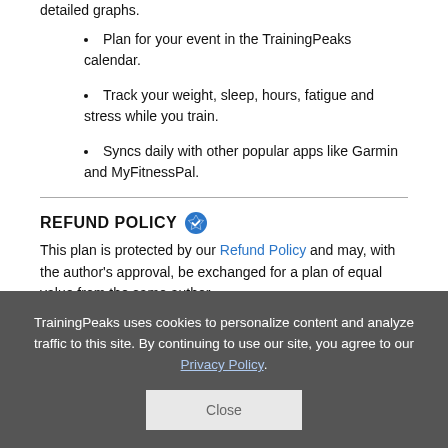Plan for your event in the TrainingPeaks calendar.
Track your weight, sleep, hours, fatigue and stress while you train.
Syncs daily with other popular apps like Garmin and MyFitnessPal.
REFUND POLICY
This plan is protected by our Refund Policy and may, with the author's approval, be exchanged for a plan of equal value from the same author.
TrainingPeaks uses cookies to personalize content and analyze traffic to this site. By continuing to use our site, you agree to our Privacy Policy.